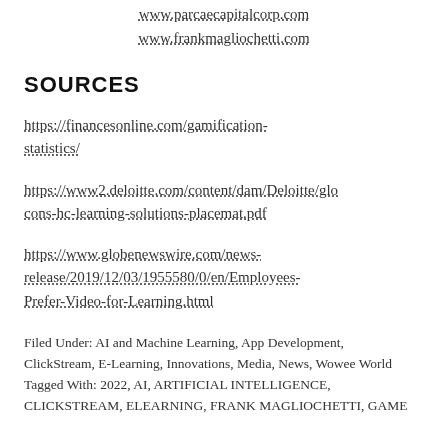www.parcaecapitalcorp.com
www.frankmagliochetti.com
SOURCES
https://financesonline.com/gamification-statistics/
https://www2.deloitte.com/content/dam/Deloitte/glo cons-hc-learning-solutions-placemat.pdf
https://www.globenewswire.com/news-release/2019/12/03/1955580/0/en/Employees-Prefer-Video-for-Learning.html
Filed Under: AI and Machine Learning, App Development, ClickStream, E-Learning, Innovations, Media, News, Wowee World
Tagged With: 2022, AI, ARTIFICIAL INTELLIGENCE, CLICKSTREAM, ELEARNING, FRANK MAGLIOCHETTI, GAME